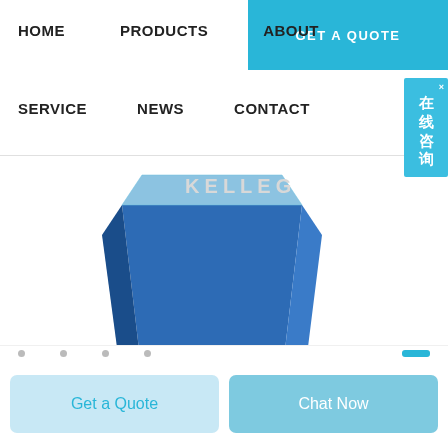HOME  PRODUCTS  ABOUT  GET A QUOTE  SERVICE  NEWS  CONTACT
[Figure (screenshot): Blue plastic bin/container product image with KELLEG watermark in background]
在线咨询
Get a Quote   Chat Now